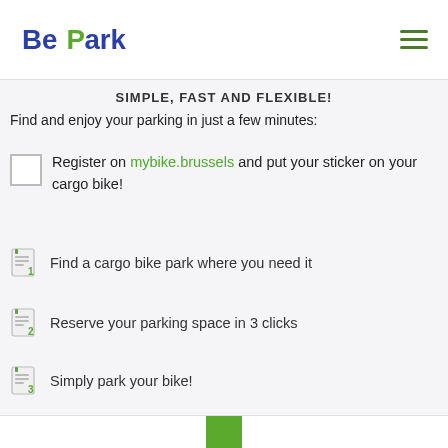BePark logo and navigation
SIMPLE, FAST AND FLEXIBLE!
Find and enjoy your parking in just a few minutes:
Register on mybike.brussels and put your sticker on your cargo bike!
1 Find a cargo bike park where you need it
2 Reserve your parking space in 3 clicks
3 Simply park your bike!